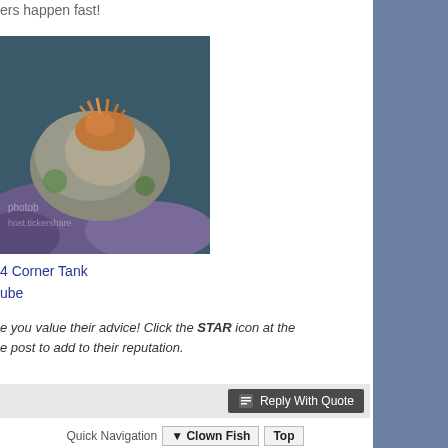ers happen fast!
[Figure (photo): Underwater aquarium photo showing coral with orange anemone and purple/blue rocks, with photobucket watermark]
4 Corner Tank
ube
e you value their advice! Click the STAR icon at the e post to add to their reputation.
Reply With Quote
Quick Navigation   ▼ Clown Fish   Top
hread | Next Thread »